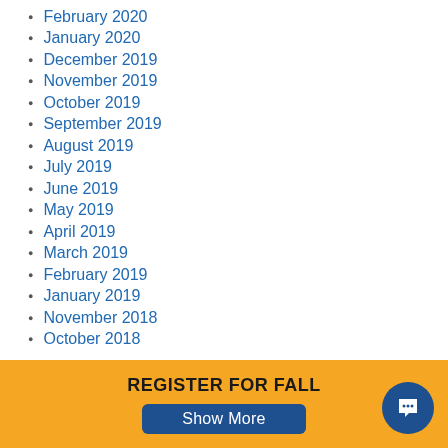February 2020
January 2020
December 2019
November 2019
October 2019
September 2019
August 2019
July 2019
June 2019
May 2019
April 2019
March 2019
February 2019
January 2019
November 2018
October 2018
REGISTER FOR FALL
Show More